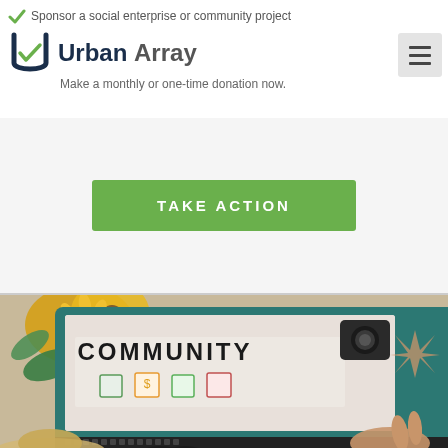Sponsor a social enterprise or community project
[Figure (logo): Urban Array logo with green U icon and text 'Urban Array']
Make a monthly or one-time donation now.
TAKE ACTION
[Figure (photo): Laptop screen displaying the word COMMUNITY with various icons; surrounded by sunflowers, travel items, sunglasses, a hat, and a person typing on the keyboard]